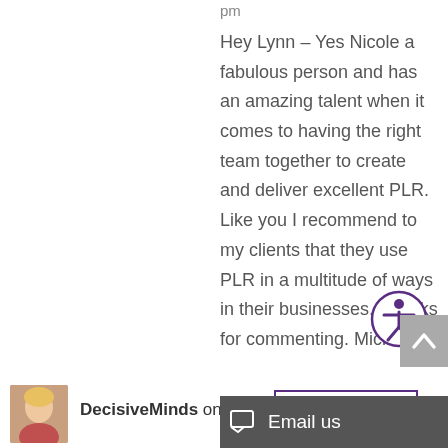pm
Hey Lynn – Yes Nicole a fabulous person and has an amazing talent when it comes to having the right team together to create and deliver excellent PLR. Like you I recommend to my clients that they use PLR in a multitude of ways in their businesses. Thanks for commenting. Michele
[Figure (other): Accessibility icon — circular badge with stylized person figure, purple border on white background]
[Figure (other): Back to top button — grey square with upward caret arrow]
Reply
[Figure (photo): Small avatar photo of a woman with blonde hair]
DecisiveMinds on De
Email us